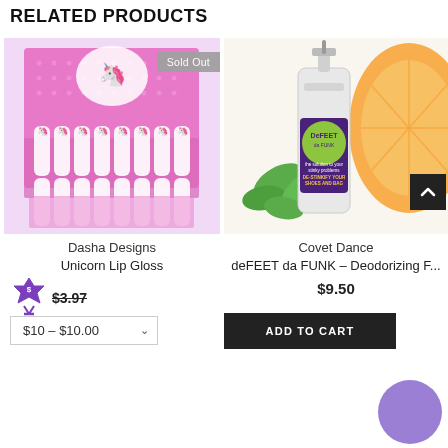RELATED PRODUCTS
[Figure (photo): Unicorn Lip Gloss product box display with multiple unicorn-shaped lip gloss tubes, pink polka dot packaging with unicorn characters. A 'Sold Out' badge overlay is shown.]
Dasha Designs
Unicorn Lip Gloss
$3.97
$10 – $10.00
[Figure (photo): DeFEET da FUNK deodorizing foot and shoe spray bottle (2 fl oz) with purple label, surrounded by fresh mint leaves and a sliced orange on a white background.]
Covet Dance
deFEET da FUNK – Deodorizing F...
$9.50
ADD TO CART